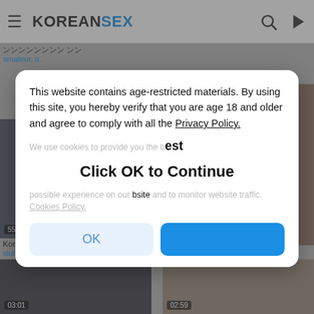KOREANSEX
[Figure (screenshot): Background of adult video website with thumbnails and partial video titles]
This website contains age-restricted materials. By using this site, you hereby verify that you are age 18 and older and agree to comply with all the Privacy Policy.
We use cookies to provide you the best possible experience on our website and to monitor website traffic. Cookies Policy.
Click OK to Continue
OK
Decline